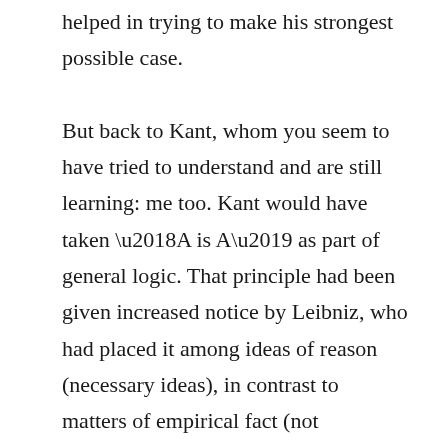helped in trying to make his strongest possible case.

But back to Kant, whom you seem to have tried to understand and are still learning: me too. Kant would have taken ‘A is A’ as part of general logic. That principle had been given increased notice by Leibniz, who had placed it among ideas of reason (necessary ideas), in contrast to matters of empirical fact (not necessary situations, what with God’s free creation of the material world; logic and mathematics simply being in the divine understanding, not created). (I’m just writing off